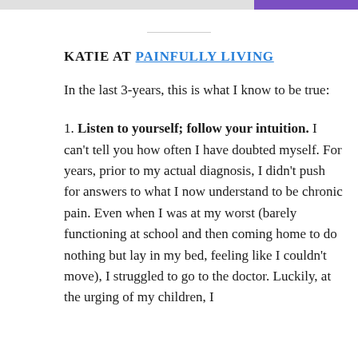KATIE AT PAINFULLY LIVING
In the last 3-years, this is what I know to be true:
1. Listen to yourself; follow your intuition. I can't tell you how often I have doubted myself. For years, prior to my actual diagnosis, I didn't push for answers to what I now understand to be chronic pain. Even when I was at my worst (barely functioning at school and then coming home to do nothing but lay in my bed, feeling like I couldn't move), I struggled to go to the doctor. Luckily, at the urging of my children, I